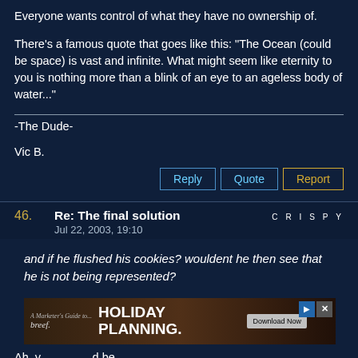Everyone wants control of what they have no ownership of.

There's a famous quote that goes like this: "The Ocean (could be space) is vast and infinite. What might seem like eternity to you is nothing more than a blink of an eye to an ageless body of water..."
-The Dude-

Vic B.
Reply | Quote | Report
46. Re: The final solution — crispy — Jul 22, 2003, 19:10
and if he flushed his cookies? wouldent he then see that he is not being represented?
[Figure (screenshot): Advertisement banner: breef. A Marketer's Guide to... HOLIDAY PLANNING. Download Now]
Ah. y... ...d be